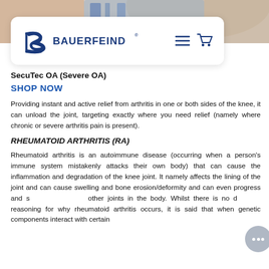[Figure (photo): Partial view of a person wearing a knee brace, top portion cropped]
[Figure (logo): Bauerfeind logo with navigation hamburger menu and cart icon on a white rounded card]
SecuTec OA (Severe OA)
SHOP NOW
Providing instant and active relief from arthritis in one or both sides of the knee, it can unload the joint, targeting exactly where you need relief (namely where chronic or severe arthritis pain is present).
RHEUMATOID ARTHRITIS (RA)
Rheumatoid arthritis is an autoimmune disease (occurring when a person's immune system mistakenly attacks their own body) that can cause the inflammation and degradation of the knee joint. It namely affects the lining of the joint and can cause swelling and bone erosion/deformity and can even progress and spread to other joints in the body. Whilst there is no definitive reasoning for why rheumatoid arthritis occurs, it is said that when genetic components interact with certain